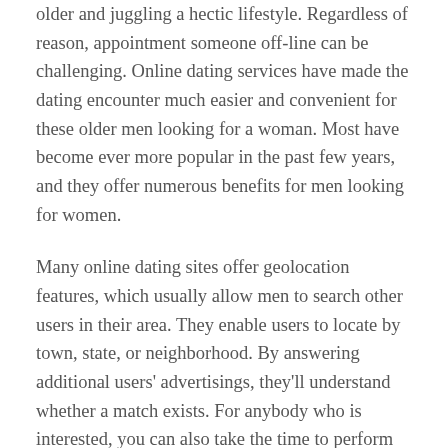older and juggling a hectic lifestyle. Regardless of reason, appointment someone off-line can be challenging. Online dating services have made the dating encounter much easier and convenient for these older men looking for a woman. Most have become ever more popular in the past few years, and they offer numerous benefits for men looking for women.
Many online dating sites offer geolocation features, which usually allow men to search other users in their area. They enable users to locate by town, state, or neighborhood. By answering additional users' advertisings, they'll understand whether a match exists. For anybody who is interested, you can also take the time to perform background checks about potential fits. It's worth their expense when the initial dates go well! The odds of actually finding a good partner with a web-based dating internet site are much better.